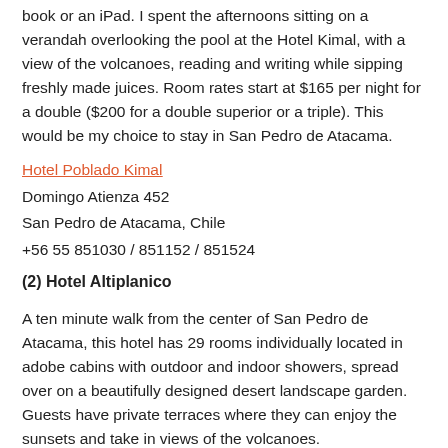book or an iPad. I spent the afternoons sitting on a verandah overlooking the pool at the Hotel Kimal, with a view of the volcanoes, reading and writing while sipping freshly made juices. Room rates start at $165 per night for a double ($200 for a double superior or a triple). This would be my choice to stay in San Pedro de Atacama.
Hotel Poblado Kimal
Domingo Atienza 452
San Pedro de Atacama, Chile
+56 55 851030 / 851152 / 851524
(2) Hotel Altiplanico
A ten minute walk from the center of San Pedro de Atacama, this hotel has 29 rooms individually located in adobe cabins with outdoor and indoor showers, spread over on a beautifully designed desert landscape garden. Guests have private terraces where they can enjoy the sunsets and take in views of the volcanoes.